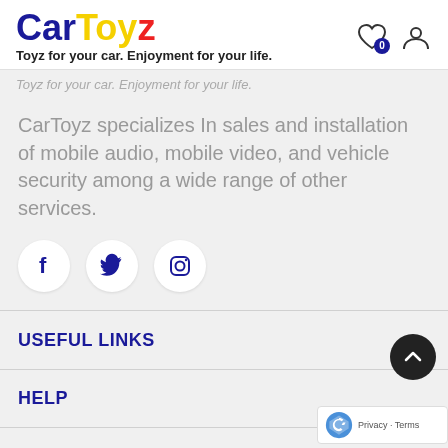CarToyz — Toyz for your car. Enjoyment for your life.
Toyz for your car. Enjoyment for your life.
CarToyz specializes In sales and installation of mobile audio, mobile video, and vehicle security among a wide range of other services.
[Figure (infographic): Three social media icon circles: Facebook (f), Twitter (bird), Instagram (camera)]
USEFUL LINKS
HELP